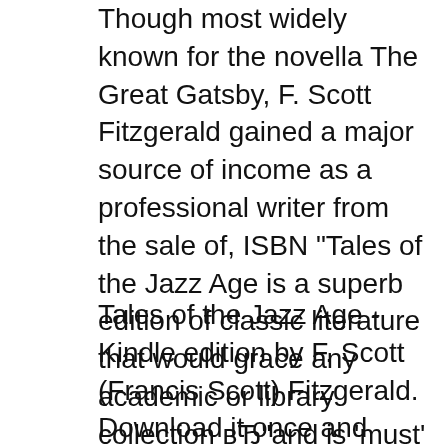Though most widely known for the novella The Great Gatsby, F. Scott Fitzgerald gained a major source of income as a professional writer from the sale of, ISBN "Tales of the Jazz Age is a superb edition of classic literature that would grace any academic or library collection вЂ"and is 'must' reading for F. Scott Fitzgerald
Tales of the Jazz Age - Kindle edition by F. Scott (Francis Scott) Fitzgerald. Download it once and read it on your Kindle device, PC, phones or tablets. Use features Booktopia has Tales of the Jazz Age, Collins Classics by F. Scott Fitzgerald. Buy a discounted Paperback of Tales of the Jazz Age online from